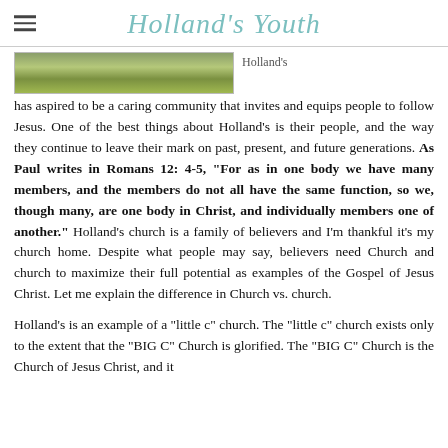Holland's Youth
[Figure (photo): Partial landscape/nature photo at the top of the article]
Holland's has aspired to be a caring community that invites and equips people to follow Jesus. One of the best things about Holland's is their people, and the way they continue to leave their mark on past, present, and future generations. As Paul writes in Romans 12: 4-5, “For as in one body we have many members, and the members do not all have the same function, so we, though many, are one body in Christ, and individually members one of another.” Holland’s church is a family of believers and I’m thankful it’s my church home. Despite what people may say, believers need Church and church to maximize their full potential as examples of the Gospel of Jesus Christ. Let me explain the difference in Church vs. church.
Holland’s is an example of a “little c” church. The “little c” church exists only to the extent that the “BIG C” Church is glorified. The “BIG C” Church is the Church of Jesus Christ, and it